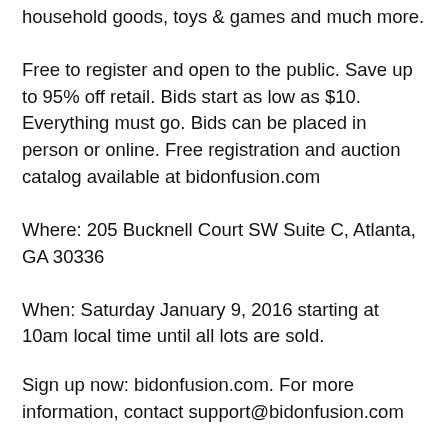household goods, toys & games and much more.
Free to register and open to the public. Save up to 95% off retail. Bids start as low as $10. Everything must go. Bids can be placed in person or online. Free registration and auction catalog available at bidonfusion.com
Where: 205 Bucknell Court SW Suite C, Atlanta, GA 30336
When: Saturday January 9, 2016 starting at 10am local time until all lots are sold.
Sign up now: bidonfusion.com. For more information, contact support@bidonfusion.com
About BidOnFusion
BidOnFusion is an auction marketplace for brand name